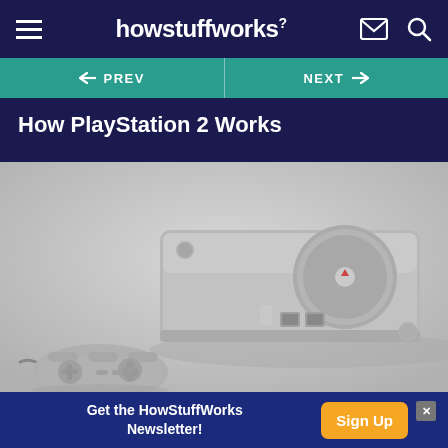howstuffworks?
← PREV  |  NEXT →
How PlayStation 2 Works
[Figure (photo): Photo of original PlayStation 1 console (gray) with a DualShock controller in front, set against a light gray background.]
Electronics
Get the HowStuffWorks Newsletter!